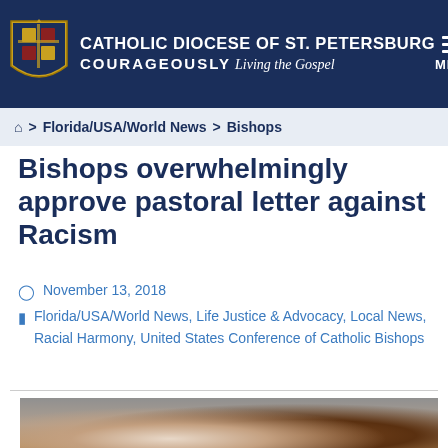CATHOLIC DIOCESE OF ST. PETERSBURG COURAGEOUSLY Living the Gospel MENU
⌂ > Florida/USA/World News > Bishops
Bishops overwhelmingly approve pastoral letter against Racism
November 13, 2018
Florida/USA/World News, Life Justice & Advocacy, Local News, Racial Harmony, United States Conference of Catholic Bishops
[Figure (photo): Photograph showing clasped hands of people with different skin tones, symbolizing racial harmony and unity.]